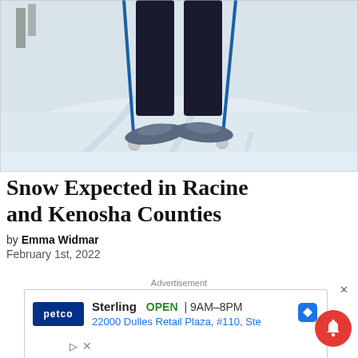[Figure (photo): Close-up of a person's legs wearing snowshoes and holding blue ski poles, walking on a snowy trail.]
Snow Expected in Racine and Kenosha Counties
by Emma Widmar
February 1st, 2022
Advertisement
[Figure (other): Petco advertisement showing Sterling store location, OPEN 9AM-8PM, 22000 Dulles Retail Plaza, #110, Ste]